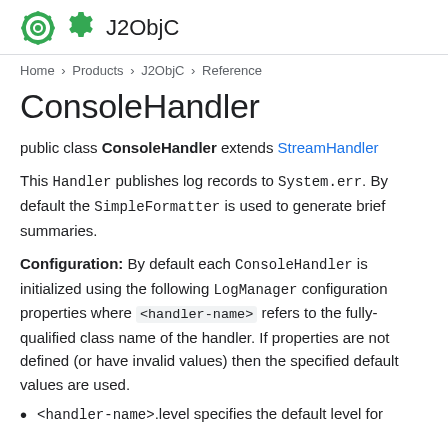J2ObjC
Home > Products > J2ObjC > Reference
ConsoleHandler
public class ConsoleHandler extends StreamHandler
This Handler publishes log records to System.err. By default the SimpleFormatter is used to generate brief summaries.
Configuration: By default each ConsoleHandler is initialized using the following LogManager configuration properties where <handler-name> refers to the fully-qualified class name of the handler. If properties are not defined (or have invalid values) then the specified default values are used.
<handler-name>.level specifies the default level for